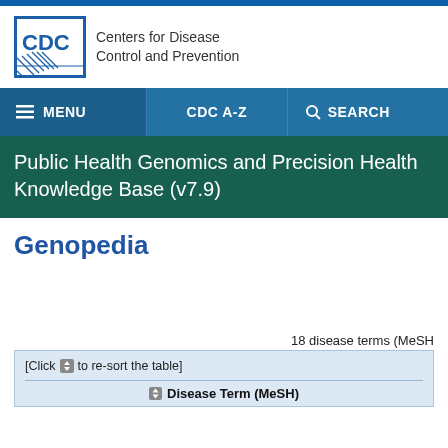[Figure (logo): CDC logo with blue square containing 'CDC' letters and diagonal lines, next to text 'Centers for Disease Control and Prevention']
MENU  CDC A-Z  SEARCH
Public Health Genomics and Precision Health Knowledge Base (v7.9)
Genopedia
18 disease terms (MeSH
[Click to re-sort the table]
| Disease Term (MeSH) |
| --- |